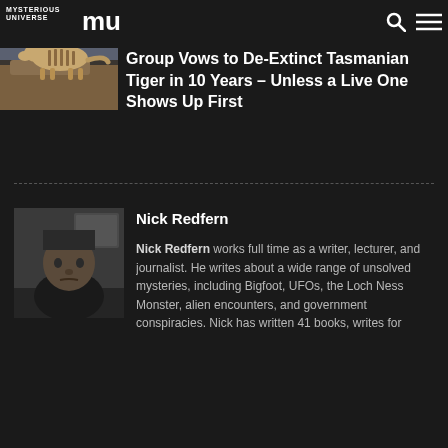Mysterious Universe
Group Vows to De-Extinct Tasmanian Tiger in 10 Years – Unless a Live One Shows Up First
[Figure (photo): Thumbnail image of a Tasmanian Tiger (thylacine) illustration on rocky terrain]
[Figure (photo): Black and white portrait photo of Nick Redfern wearing a black beanie hat]
Nick Redfern
Nick Redfern works full time as a writer, lecturer, and journalist. He writes about a wide range of unsolved mysteries, including Bigfoot, UFOs, the Loch Ness Monster, alien encounters, and government conspiracies. Nick has written 41 books, writes for